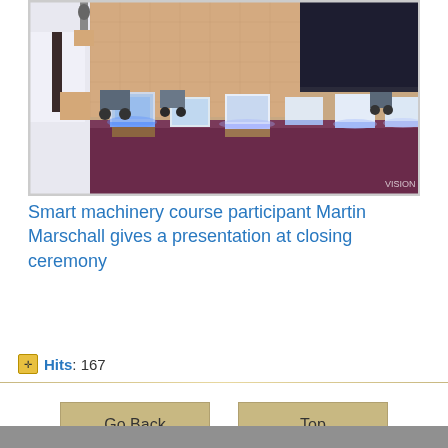[Figure (photo): A person in a white shirt and dark tie holding a microphone, presenting at a table displaying several robotic/electronic devices with glowing blue lights, set against a textured wall background.]
Smart machinery course participant Martin Marschall gives a presentation at closing ceremony
Hits: 167